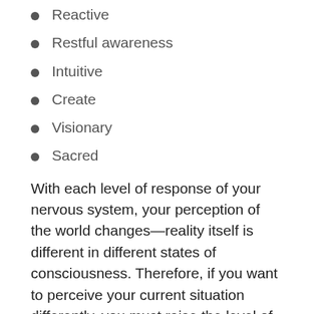Reactive
Restful awareness
Intuitive
Create
Visionary
Sacred
With each level of response of your nervous system, your perception of the world changes—reality itself is different in different states of consciousness. Therefore, if you want to perceive your current situation differently, you must raise the level of your consciousness. The mindset and worldview of the COVID-19 crisis is deeply rooted in the fight-or-flight and reactive responses of your nervous system. If you wish to no longer be frightened by words like outbreak, pandemic, quarantine, self-isolation, and social distancing, you must learn to transcend to